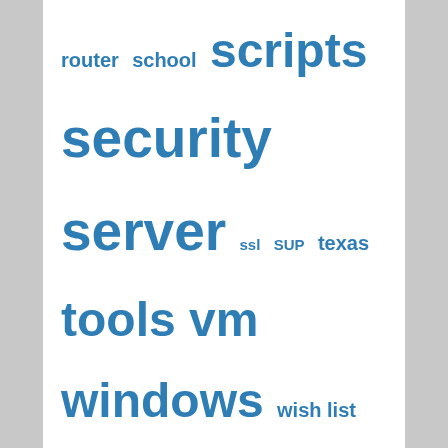router school scripts security server ssl SUP texas tools vm windows wish list wordpress yuck
Recent Posts
Nepal Trek Spring 2022 Tsum Valley Quotes
Executing an Effective Security Program
Installation notes for ArcSight ESM 6.9.1 on CentOS 7.1
BlockSync Project
© 2022 pomeroy.us